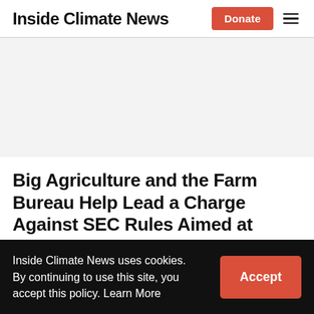Inside Climate News
Big Agriculture and the Farm Bureau Help Lead a Charge Against SEC Rules Aimed at Corporate Climate Transparency
Inside Climate News uses cookies. By continuing to use this site, you accept this policy. Learn More